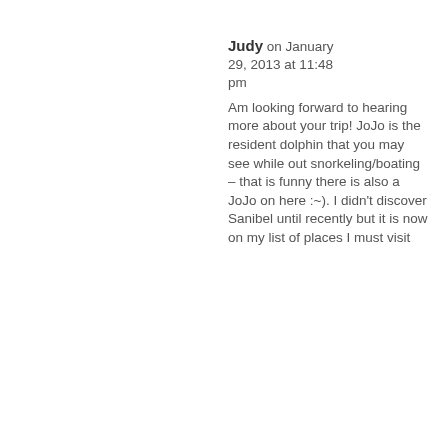Judy on January 29, 2013 at 11:48 pm
Am looking forward to hearing more about your trip! JoJo is the resident dolphin that you may see while out snorkeling/boating – that is funny there is also a JoJo on here :~). I didn't discover Sanibel until recently but it is now on my list of places I must visit